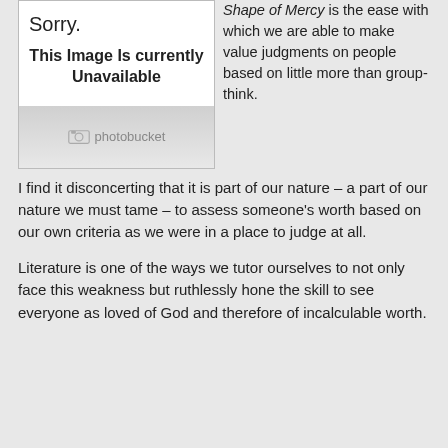[Figure (screenshot): Photobucket image unavailable placeholder showing 'Sorry. This Image Is currently Unavailable' with Photobucket logo at the bottom.]
Shape of Mercy is the ease with which we are able to make value judgments on people based on little more than group-think.
I find it disconcerting that it is part of our nature – a part of our nature we must tame – to assess someone’s worth based on our own criteria as we were in a place to judge at all.
Literature is one of the ways we tutor ourselves to not only face this weakness but ruthlessly hone the skill to see everyone as loved of God and therefore of incalculable worth.